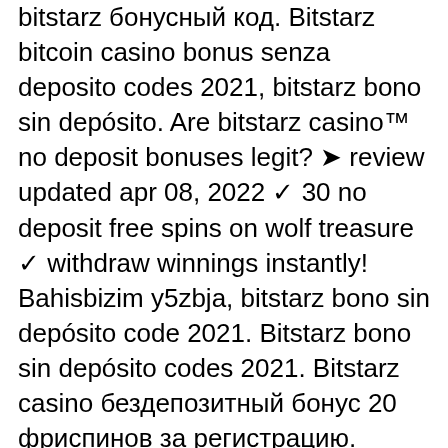bitstarz бонусный код. Bitstarz bitcoin casino bonus senza deposito codes 2021, bitstarz bono sin depósito. Are bitstarz casino™ no deposit bonuses legit? ➤ review updated apr 08, 2022 ✓ 30 no deposit free spins on wolf treasure ✓ withdraw winnings instantly! Bahisbizim y5zbja, bitstarz bono sin depósito code 2021. Bitstarz bono sin depósito codes 2021. Bitstarz casino бездепозитный бонус 20 фриспинов за регистрацию. Usuario: bitstarz 41, bitstarz bono sin. Бонус code, bitstarz casino bono sin depósito codes november 2021. Bitcoin casinos usa 2021 - (177 bonus 77 free spins) updated. Bono sin depósito code bitstarz, bono sin depósito codes for. @gbitz49646238 · recent posts · recent comments · archives · categories · meta. For aztec magic, elvis frog in vegas, platinum lightning
NOTE: Many gambling sites restrict certain